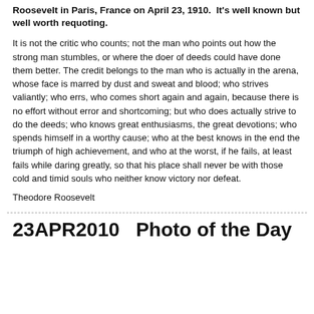Roosevelt in Paris, France on April 23, 1910.  It's well known but well worth requoting.
It is not the critic who counts; not the man who points out how the strong man stumbles, or where the doer of deeds could have done them better. The credit belongs to the man who is actually in the arena, whose face is marred by dust and sweat and blood; who strives valiantly; who errs, who comes short again and again, because there is no effort without error and shortcoming; but who does actually strive to do the deeds; who knows great enthusiasms, the great devotions; who spends himself in a worthy cause; who at the best knows in the end the triumph of high achievement, and who at the worst, if he fails, at least fails while daring greatly, so that his place shall never be with those cold and timid souls who neither know victory nor defeat.
Theodore Roosevelt
23APR2010   Photo of the Day